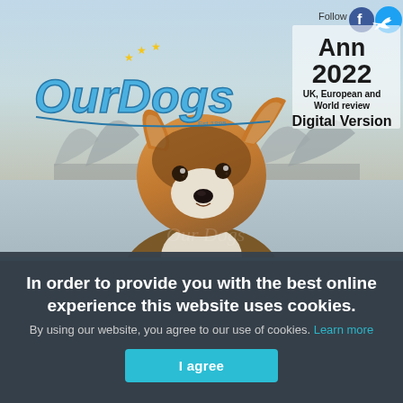[Figure (photo): Magazine cover of OurDogs Annual 2022 showing a Corgi dog in front of what appears to be the Sydney Opera House in the background. The cover has the OurDogs logo in blue with yellow stars, and text reading 'Annual 2022', 'UK, European and World review', 'Digital Version'. Social media follow icons for Facebook and Twitter are visible in the top right corner.]
In order to provide you with the best online experience this website uses cookies.
By using our website, you agree to our use of cookies. Learn more
I agree